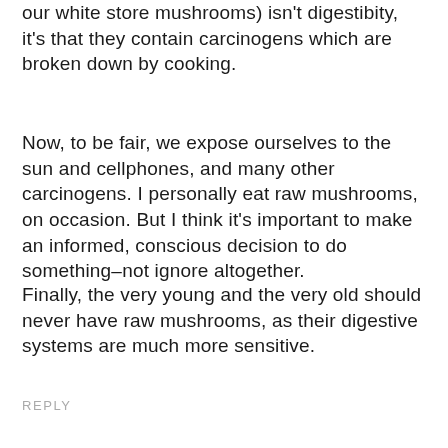our white store mushrooms) isn't digestibity, it's that they contain carcinogens which are broken down by cooking.
Now, to be fair, we expose ourselves to the sun and cellphones, and many other carcinogens. I personally eat raw mushrooms, on occasion. But I think it's important to make an informed, conscious decision to do something–not ignore altogether.
Finally, the very young and the very old should never have raw mushrooms, as their digestive systems are much more sensitive.
REPLY